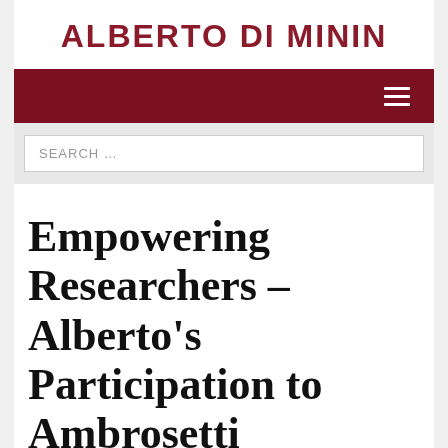ALBERTO DI MININ
[Figure (screenshot): Dark red navigation bar with hamburger menu icon on the right]
SEARCH …
Empowering Researchers – Alberto's Participation to Ambrosetti Technology Forum